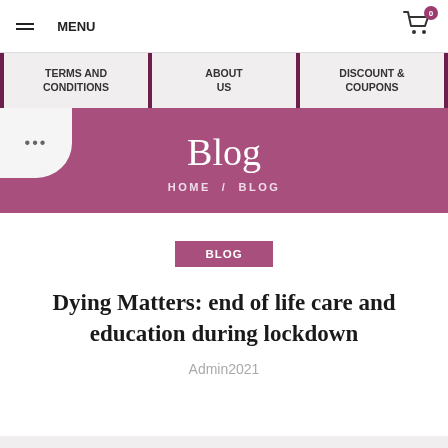MENU
TERMS AND CONDITIONS
ABOUT US
DISCOUNT & COUPONS
Blog
HOME / BLOG
BLOG
Dying Matters: end of life care and education during lockdown
Admin2021